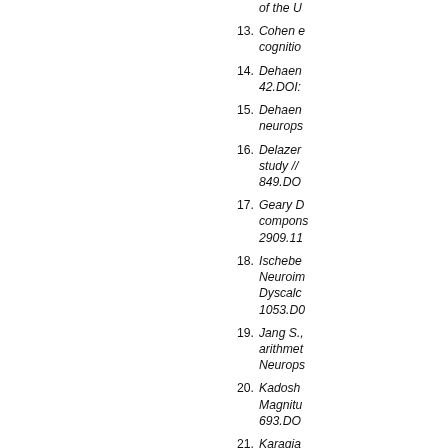of the U
13. Cohen e cognitio
14. Dehaen 42.DOI:
15. Dehaen neurops
16. Delazer study // 849.DO
17. Geary D compons 2909.11
18. Ischebe Neuroim Dyscalc 1053.D0
19. Jang S., arithmet Neurops
20. Kadosh Magnitu 693.DO
21. Karagia subtype neurops